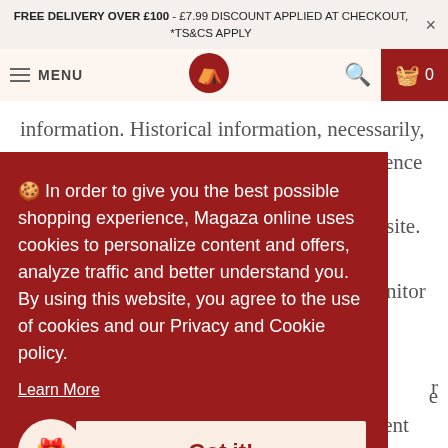FREE DELIVERY OVER £100 - £7.99 DISCOUNT APPLIED AT CHECKOUT, *TS&CS APPLY
[Figure (screenshot): Navigation bar with hamburger menu (MENU), a circular logo with mountain/tent icon, a search icon, and a dark red shopping basket icon with '0' count]
information. Historical information, necessarily, is not current and is provided for your reference only. We reserve the right to modify the contents
🍪 In order to give you the best possible shopping experience, Magaza online uses cookies to personalize content and offers, analyze traffic and better understand you. By using this website, you agree to the use of cookies and our Privacy and Cookie policy.
Learn More
Got it!
discontinue the Service (or any part or content